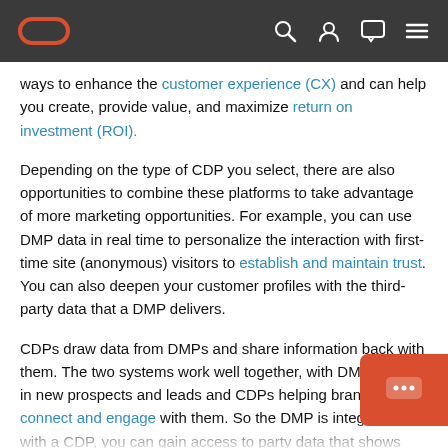Oracle logo navigation bar with search, user, chat, and menu icons
ways to enhance the customer experience (CX) and can help you create, provide value, and maximize return on investment (ROI).
Depending on the type of CDP you select, there are also opportunities to combine these platforms to take advantage of more marketing opportunities. For example, you can use DMP data in real time to personalize the interaction with first-time site (anonymous) visitors to establish and maintain trust. You can also deepen your customer profiles with the third-party data that a DMP delivers.
CDPs draw data from DMPs and share information back with them. The two systems work well together, with DMPs driving in new prospects and leads and CDPs helping brands connect and engage with them. So the DMP is integrated with a CDP, you can gain access to party data that shows what customers are doing be their interactions with you. This insight helps you fi